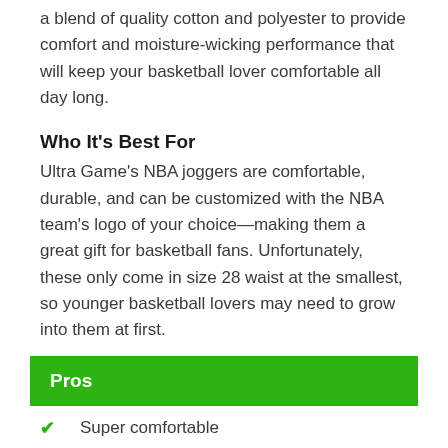a blend of quality cotton and polyester to provide comfort and moisture-wicking performance that will keep your basketball lover comfortable all day long.
Who It's Best For
Ultra Game's NBA joggers are comfortable, durable, and can be customized with the NBA team's logo of your choice—making them a great gift for basketball fans. Unfortunately, these only come in size 28 waist at the smallest, so younger basketball lovers may need to grow into them at first.
Pros
Super comfortable
Customizable with favorite NBA team logo
Inexpensive